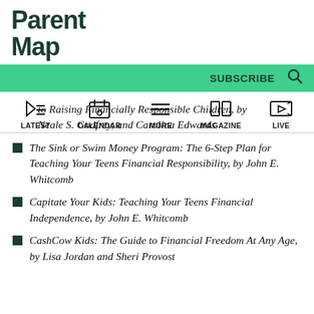ParentMap
to Raising Financially Responsible Children, by Neale S. Godfrey, and Carolina Edwards
The Sink or Swim Money Program: The 6-Step Plan for Teaching Your Teens Financial Responsibility, by John E. Whitcomb
Capitate Your Kids: Teaching Your Teens Financial Independence, by John E. Whitcomb
CashCow Kids: The Guide to Financial Freedom At Any Age, by Lisa Jordan and Sheri Provost